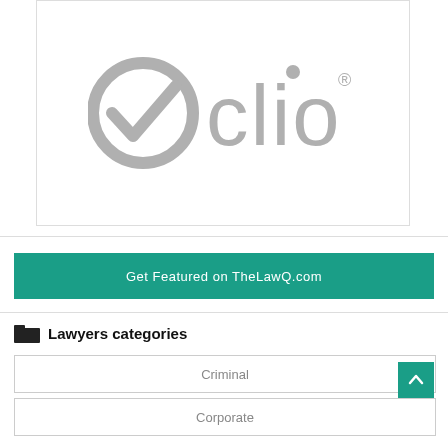[Figure (logo): Clio logo — grey checkmark circle icon followed by grey 'Clio' text with registered trademark symbol]
Get Featured on TheLawQ.com
Lawyers categories
Criminal
Corporate